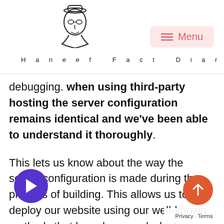Haneef Fact Diary
debugging. when using third-party hosting the server configuration remains identical and we’ve been able to understand it thoroughly.
This lets us know about the way the server configuration is made during the process of building. This allows us to deploy our website using our well-known methods that have been and which gives us a head start should a issues arise since we’ve probably experienced